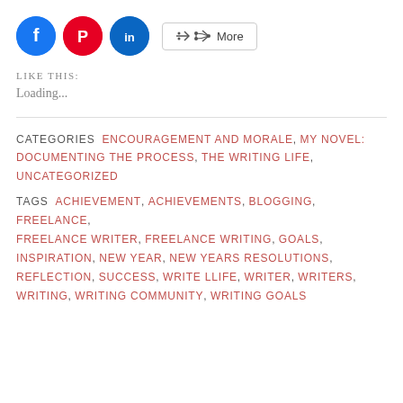[Figure (other): Social sharing buttons: Facebook (blue circle), Pinterest (red circle), LinkedIn (teal circle), and a More button with share icon]
LIKE THIS:
Loading...
CATEGORIES  ENCOURAGEMENT AND MORALE, MY NOVEL: DOCUMENTING THE PROCESS, THE WRITING LIFE, UNCATEGORIZED
TAGS  ACHIEVEMENT, ACHIEVEMENTS, BLOGGING, FREELANCE, FREELANCE WRITER, FREELANCE WRITING, GOALS, INSPIRATION, NEW YEAR, NEW YEARS RESOLUTIONS, REFLECTION, SUCCESS, WRITE LLIFE, WRITER, WRITERS, WRITING, WRITING COMMUNITY, WRITING GOALS